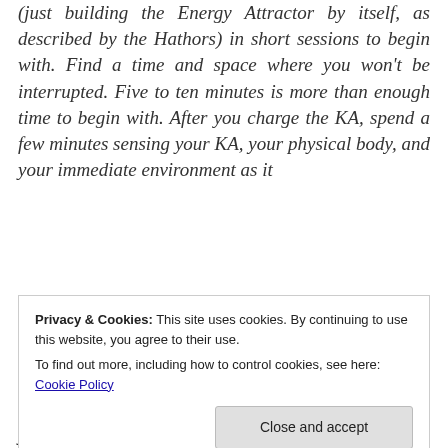(just building the Energy Attractor by itself, as described by the Hathors) in short sessions to begin with. Find a time and space where you won't be interrupted. Five to ten minutes is more than enough time to begin with. After you charge the KA, spend a few minutes sensing your KA, your physical body, and your immediate environment as it
Privacy & Cookies: This site uses cookies. By continuing to use this website, you agree to their use. To find out more, including how to control cookies, see here: Cookie Policy
Close and accept
you to integrate the charged energies more